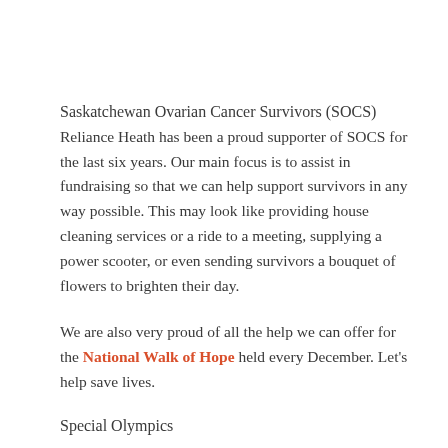Saskatchewan Ovarian Cancer Survivors (SOCS)
Reliance Heath has been a proud supporter of SOCS for the last six years. Our main focus is to assist in fundraising so that we can help support survivors in any way possible. This may look like providing house cleaning services or a ride to a meeting, supplying a power scooter, or even sending survivors a bouquet of flowers to brighten their day.
We are also very proud of all the help we can offer for the National Walk of Hope held every December. Let's help save lives.
Special Olympics